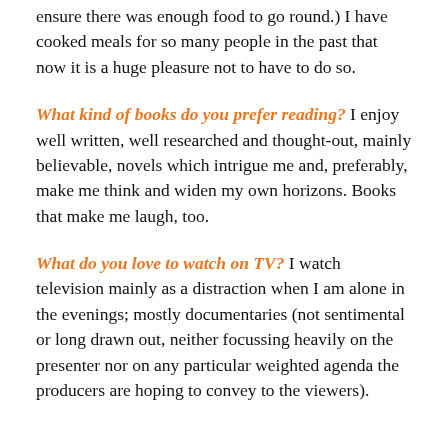ensure there was enough food to go round.) I have cooked meals for so many people in the past that now it is a huge pleasure not to have to do so.
What kind of books do you prefer reading? I enjoy well written, well researched and thought-out, mainly believable, novels which intrigue me and, preferably, make me think and widen my own horizons. Books that make me laugh, too.
What do you love to watch on TV? I watch television mainly as a distraction when I am alone in the evenings; mostly documentaries (not sentimental or long drawn out, neither focussing heavily on the presenter nor on any particular weighted agenda the producers are hoping to convey to the viewers).